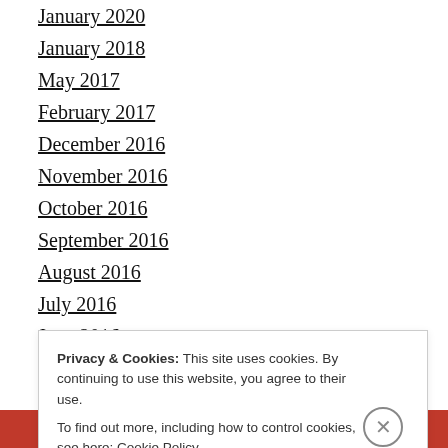January 2020
January 2018
May 2017
February 2017
December 2016
November 2016
October 2016
September 2016
August 2016
July 2016
June 2016
Privacy & Cookies: This site uses cookies. By continuing to use this website, you agree to their use.
To find out more, including how to control cookies, see here: Cookie Policy
Close and accept